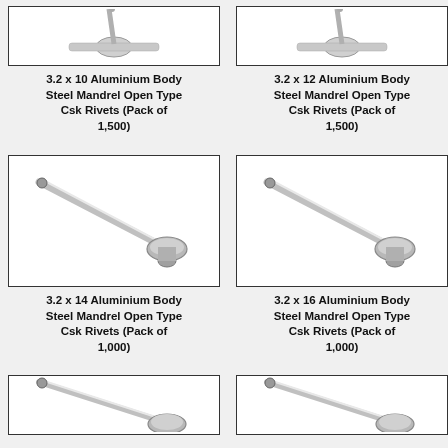[Figure (photo): 3.2x10 aluminium body steel mandrel open type csk rivet (partially visible at top, cropped)]
[Figure (photo): 3.2x12 aluminium body steel mandrel open type csk rivet (partially visible at top, cropped)]
3.2 x 10 Aluminium Body Steel Mandrel Open Type Csk Rivets (Pack of 1,500)
3.2 x 12 Aluminium Body Steel Mandrel Open Type Csk Rivets (Pack of 1,500)
[Figure (photo): 3.2x14 aluminium body steel mandrel open type csk rivet shown diagonally with mandrel extending upper-left]
[Figure (photo): 3.2x16 aluminium body steel mandrel open type csk rivet shown diagonally with mandrel extending upper-left]
3.2 x 14 Aluminium Body Steel Mandrel Open Type Csk Rivets (Pack of 1,000)
3.2 x 16 Aluminium Body Steel Mandrel Open Type Csk Rivets (Pack of 1,000)
[Figure (photo): Bottom row left product image, partially visible/cropped]
[Figure (photo): Bottom row right product image, partially visible/cropped]